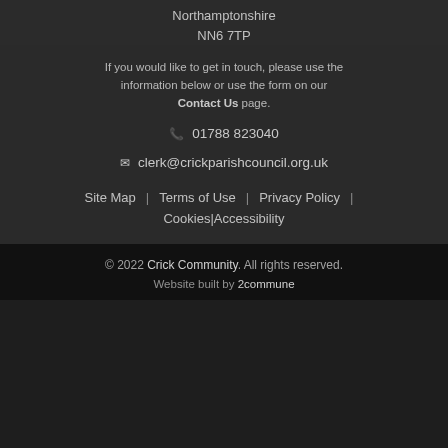Northamptonshire
NN6 7TP
If you would like to get in touch, please use the information below or use the form on our Contact Us page.
📞 01788 823040
✉ clerk@crickparishcouncil.org.uk
Site Map | Terms of Use | Privacy Policy | Cookies | Accessibility
© 2022 Crick Community. All rights reserved. Website built by 2commune